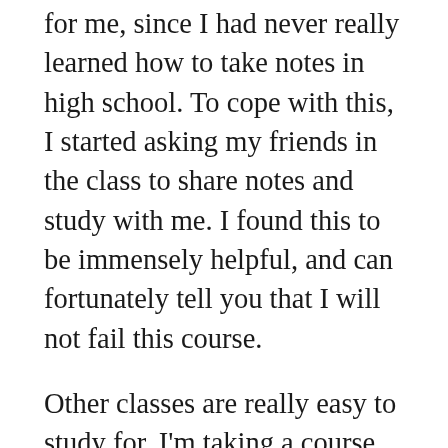for me, since I had never really learned how to take notes in high school. To cope with this, I started asking my friends in the class to share notes and study with me. I found this to be immensely helpful, and can fortunately tell you that I will not fail this course.
Other classes are really easy to study for. I'm taking a course on religion right now, and it's one of my favorite classes. I only missed a